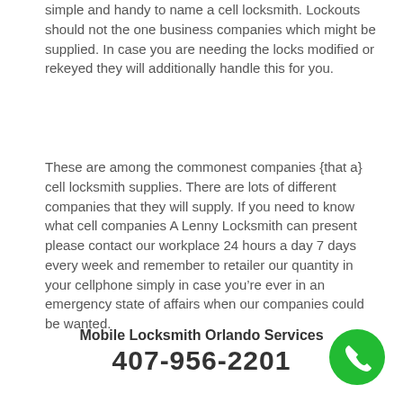simple and handy to name a cell locksmith. Lockouts should not the one business companies which might be supplied. In case you are needing the locks modified or rekeyed they will additionally handle this for you.
These are among the commonest companies {that a} cell locksmith supplies. There are lots of different companies that they will supply. If you need to know what cell companies A Lenny Locksmith can present please contact our workplace 24 hours a day 7 days every week and remember to retailer our quantity in your cellphone simply in case you’re ever in an emergency state of affairs when our companies could be wanted.
Mobile Locksmith Orlando Services
407-956-2201